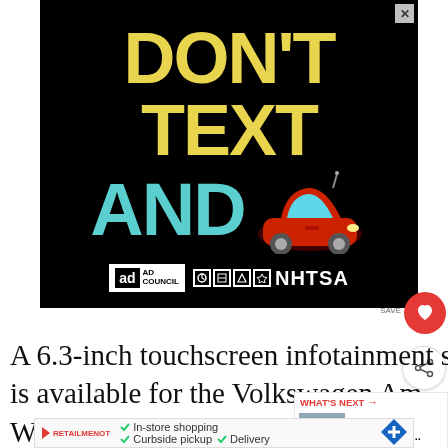[Figure (infographic): Public service announcement ad on black background. Large yellow text: DON'T TEXT, large cyan text: AND, with a red cartoon car emoji. Ad Council and NHTSA logos at bottom.]
A 6.3-inch touchscreen infotainment system is available for the Volkswagen Am... Well, it comes with the multimedia features,
[Figure (infographic): Bottom advertisement banner showing shopping options: In-store shopping, Curbside pickup, Delivery with navigation icon.]